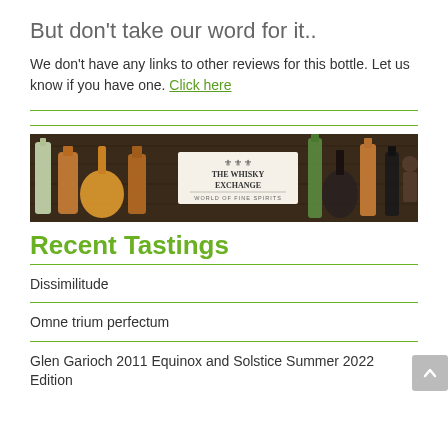But don't take our word for it..
We don't have any links to other reviews for this bottle. Let us know if you have one. Click here
[Figure (illustration): The Whisky Exchange banner advertisement showing various spirit bottles on a dark wooden background with the text 'THE WHISKY EXCHANGE - WORLD OF FINE SPIRITS']
Recent Tastings
Dissimilitude
Omne trium perfectum
Glen Garioch 2011 Equinox and Solstice Summer 2022 Edition